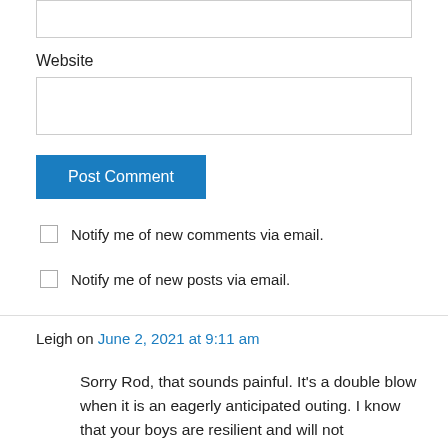Website
Post Comment
Notify me of new comments via email.
Notify me of new posts via email.
Leigh on June 2, 2021 at 9:11 am
Sorry Rod, that sounds painful. It's a double blow when it is an eagerly anticipated outing. I know that your boys are resilient and will not